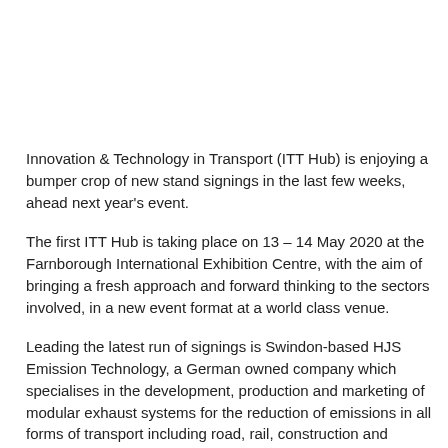Innovation & Technology in Transport (ITT Hub) is enjoying a bumper crop of new stand signings in the last few weeks, ahead next year's event.
The first ITT Hub is taking place on 13 – 14 May 2020 at the Farnborough International Exhibition Centre, with the aim of bringing a fresh approach and forward thinking to the sectors involved, in a new event format at a world class venue.
Leading the latest run of signings is Swindon-based HJS Emission Technology, a German owned company which specialises in the development, production and marketing of modular exhaust systems for the reduction of emissions in all forms of transport including road, rail, construction and marine.